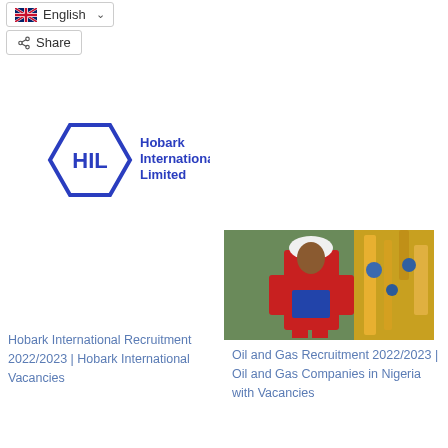[Figure (screenshot): Language selector button showing UK flag and 'English' with dropdown chevron]
[Figure (screenshot): Share button with share icon]
[Figure (logo): Hobark International Limited (HIL) logo — hexagonal shape with HIL text and full company name]
Hobark International Recruitment 2022/2023 | Hobark International Vacancies
[Figure (photo): Worker in red safety coveralls and white helmet among industrial oil/gas equipment]
Oil and Gas Recruitment 2022/2023 | Oil and Gas Companies in Nigeria with Vacancies
[Figure (logo): DCSL Corporate Services Limited logo — large DCSL letters with company name below]
DSCL Corporate Service Limited Vacancies | DCSL